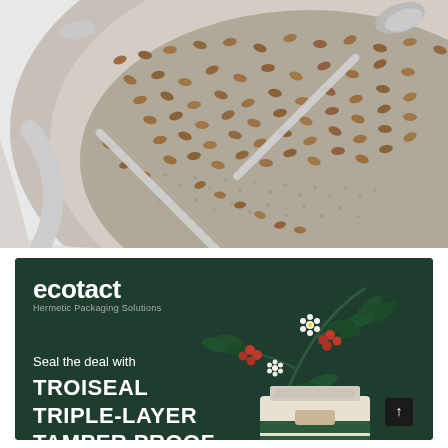[Figure (photo): Close-up photograph of roasted coffee beans in a large round metal cooling tray with a perforated bottom and metal mixing arms, viewed from above at an angle]
[Figure (illustration): Ecotact advertisement banner with dark green background. Shows the Ecotact logo (Hermetic Packaging Solutions), tagline 'Seal the deal with', and product name 'TROISEAL TRIPLE-LAYER TAMPER PROOF' in bold white text. Features a coffee branch illustration with berries and flowers on the right side, along with a product bag image.]